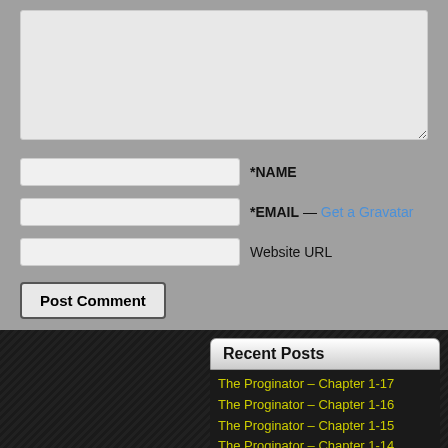[Comment textarea]
*NAME
*EMAIL — Get a Gravatar
Website URL
Post Comment
This site uses Akismet to reduce spam. Learn how your comment data is processed.
Recent Posts
The Proginator – Chapter 1-17
The Proginator – Chapter 1-16
The Proginator – Chapter 1-15
The Proginator – Chapter 1-14
The Proginator – Chapter 1-13